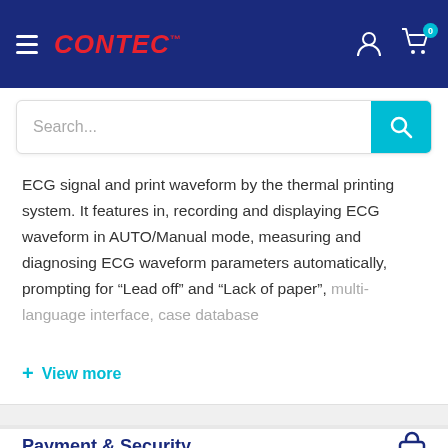CONTEC
ECG signal and print waveform by the thermal printing system. It features in, recording and displaying ECG waveform in AUTO/Manual mode, measuring and diagnosing ECG waveform parameters automatically, prompting for “Lead off” and “Lack of paper”, multi-language interface, case database
+ View more
Payment & Security